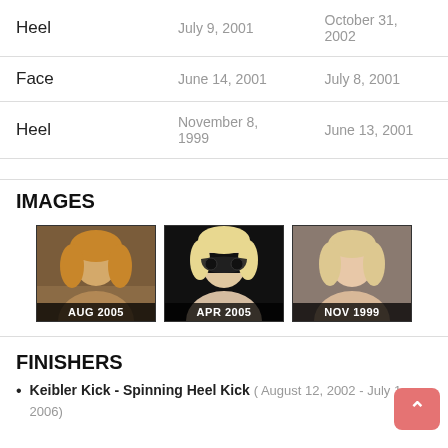| Character | Date From | Date To |
| --- | --- | --- |
| Heel | July 9, 2001 | October 31, 2002 |
| Face | June 14, 2001 | July 8, 2001 |
| Heel | November 8, 1999 | June 13, 2001 |
IMAGES
[Figure (photo): Three wrestler profile images labeled AUG 2005, APR 2005, NOV 1999]
FINISHERS
Keibler Kick - Spinning Heel Kick ( August 12, 2002 - July 1, 2006)